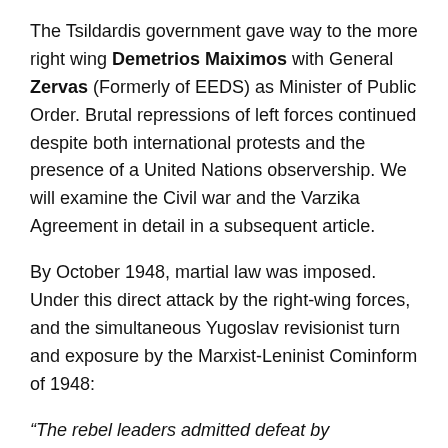The Tsildardis government gave way to the more right wing Demetrios Maiximos with General Zervas (Formerly of EEDS) as Minister of Public Order. Brutal repressions of left forces continued despite both international protests and the presence of a United Nations observership. We will examine the Civil war and the Varzika Agreement in detail in a subsequent article.
By October 1948, martial law was imposed. Under this direct attack by the right-wing forces, and the simultaneous Yugoslav revisionist turn and exposure by the Marxist-Leninist Cominform of 1948:
“The rebel leaders admitted defeat by proclaiming a ‘temporary cessation of hostilities’… a caretaker government.. lifting of martial law, .. withdrawal of the